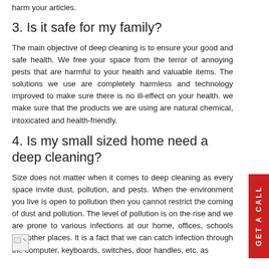harm your articles.
3. Is it safe for my family?
The main objective of deep cleaning is to ensure your good and safe health. We free your space from the terror of annoying pests that are harmful to your health and valuable items. The solutions we use are completely harmless and technology improved to make sure there is no ill-effect on your health. we make sure that the products we are using are natural chemical, intoxicated and health-friendly.
4. Is my small sized home need a deep cleaning?
Size does not matter when it comes to deep cleaning as every space invite dust, pollution, and pests. When the environment you live is open to pollution then you cannot restrict the coming of dust and pollution. The level of pollution is on the rise and we are prone to various infections at our home, offices, schools and other places. It is a fact that we can catch infection through the computer, keyboards, switches, door handles, etc. as
[Figure (other): Broken image icon placeholder]